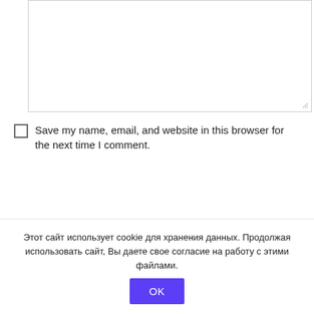[Figure (screenshot): Textarea input box with resize handle at bottom right]
Save my name, email, and website in this browser for the next time I comment.
Post Comment
[Figure (screenshot): Partial avatar icon (black rectangle) with partial bold text visible]
Этот сайт использует cookie для хранения данных. Продолжая использовать сайт, Вы даете свое согласие на работу с этими файлами. OK